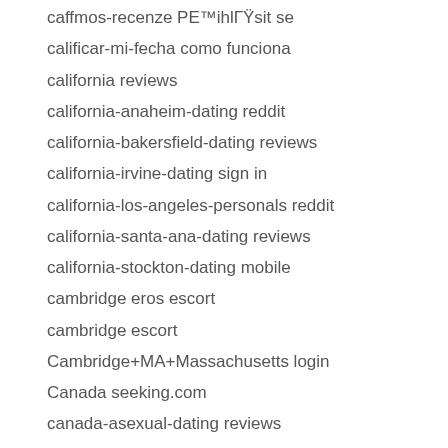caffmos-recenze PE™ihlГŸsit se
calificar-mi-fecha como funciona
california reviews
california-anaheim-dating reddit
california-bakersfield-dating reviews
california-irvine-dating sign in
california-los-angeles-personals reddit
california-santa-ana-dating reviews
california-stockton-dating mobile
cambridge eros escort
cambridge escort
Cambridge+MA+Massachusetts login
Canada seeking.com
canada-asexual-dating reviews